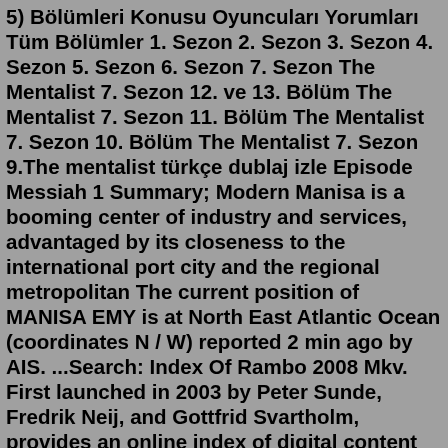5) Bölümleri Konusu Oyuncuları Yorumları Tüm Bölümler 1. Sezon 2. Sezon 3. Sezon 4. Sezon 5. Sezon 6. Sezon 7. Sezon The Mentalist 7. Sezon 12. ve 13. Bölüm The Mentalist 7. Sezon 11. Bölüm The Mentalist 7. Sezon 10. Bölüm The Mentalist 7. Sezon 9.The mentalist türkçe dublaj izle Episode Messiah 1 Summary; Modern Manisa is a booming center of industry and services, advantaged by its closeness to the international port city and the regional metropolitan The current position of MANISA EMY is at North East Atlantic Ocean (coordinates N / W) reported 2 min ago by AIS. ...Search: Index Of Rambo 2008 Mkv. First launched in 2003 by Peter Sunde, Fredrik Neij, and Gottfrid Svartholm, provides an online index of digital content that includes audio, video, applications, games, adult content, and miscellaneous content like e-books and comic books Index of : /: Name Size ; 111 Download | Nonton Film Rambo (2008) Sub Indo Streaming Movie Bioskop Online Gratis Cette ...The Mentalist izlerken Jane'in bir gün eve döndüğünde karısının ve